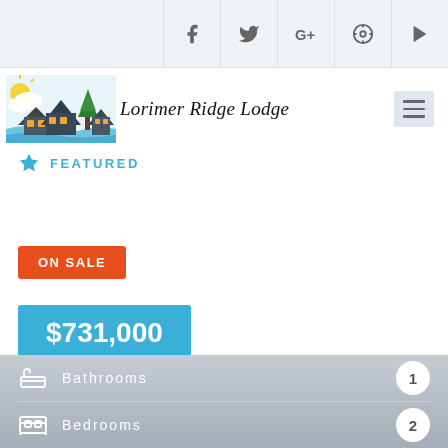Social media icons: Facebook, Twitter, Google+, Pinterest, YouTube
[Figure (logo): Lorimer Ridge Lodge logo with illustrated lodge/cabin scene and cursive text]
FEATURED
ON SALE
$731,000
Bathrooms 1
Bedrooms 2